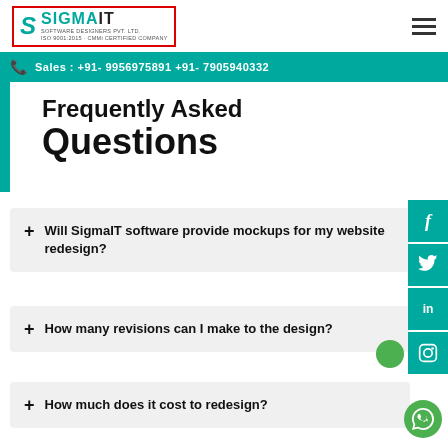SigmaIT Software Designers Pvt. Ltd.
Sales : +91- 9956975891 +91- 7905940332
Frequently Asked Questions
+ Will SigmaIT software provide mockups for my website redesign?
+ How many revisions can I make to the design?
+ How much does it cost to redesign?